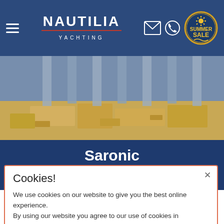NAUTILIA YACHTING — navigation header with hamburger menu, logo, email icon, phone icon, and Summer Sale badge
[Figure (photo): Archaeological ruins photo — ancient stone columns and rock fragments in warm golden tones]
Saronic
Saronic and Argolic gulfs, placed between Peloponnese and Attica peninsulas, sheltered from strong winds, are
Cookies!
We use cookies on our website to give you the best online experience.
By using our website you agree to our use of cookies in accordance with our cookie policy.
OK